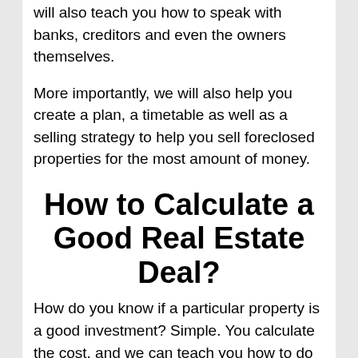will also teach you how to speak with banks, creditors and even the owners themselves.
More importantly, we will also help you create a plan, a timetable as well as a selling strategy to help you sell foreclosed properties for the most amount of money.
How to Calculate a Good Real Estate Deal?
How do you know if a particular property is a good investment? Simple. You calculate the cost, and we can teach you how to do that. Realtors use all